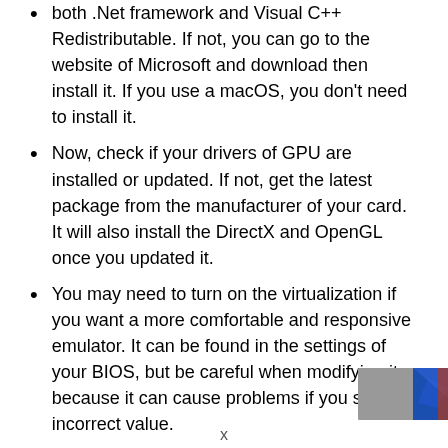both .Net framework and Visual C++ Redistributable. If not, you can go to the website of Microsoft and download then install it. If you use a macOS, you don't need to install it.
Now, check if your drivers of GPU are installed or updated. If not, get the latest package from the manufacturer of your card. It will also install the DirectX and OpenGL once you updated it.
You may need to turn on the virtualization if you want a more comfortable and responsive emulator. It can be found in the settings of your BIOS, but be careful when modifying it because it can cause problems if you set an incorrect value.
[Figure (photo): Partial image of a person or graphic in bottom-right corner, blue and grey tones.]